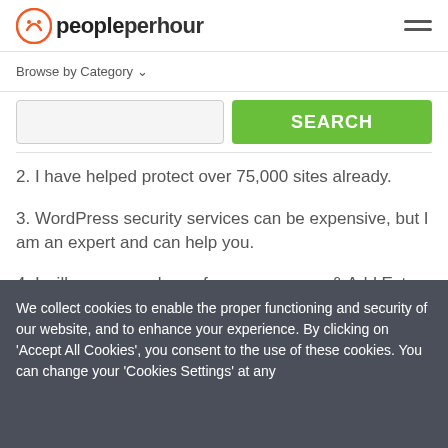peopleperhour
Browse by Category
2. I have helped protect over 75,000 sites already.
3. WordPress security services can be expensive, but I am an expert and can help you.
4. I will remove malware from your server & Add Extra security.
5. I can help with iframe hacks, JavaScript hacks, base64 hacks
We collect cookies to enable the proper functioning and security of our website, and to enhance your experience. By clicking on 'Accept All Cookies', you consent to the use of these cookies. You can change your 'Cookies Settings' at any